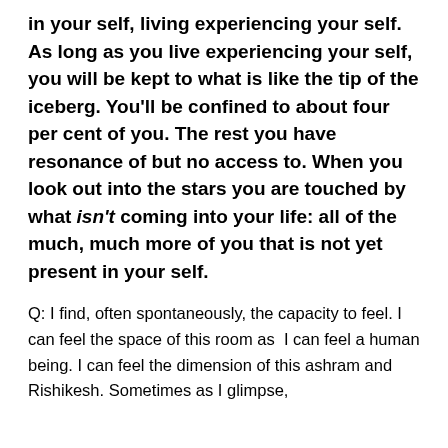in your self, living experiencing your self. As long as you live experiencing your self, you will be kept to what is like the tip of the iceberg. You'll be confined to about four per cent of you. The rest you have resonance of but no access to. When you look out into the stars you are touched by what isn't coming into your life: all of the much, much more of you that is not yet present in your self.
Q: I find, often spontaneously, the capacity to feel. I can feel the space of this room as I can feel a human being. I can feel the dimension of this ashram and Rishikesh. Sometimes as I glimpse,